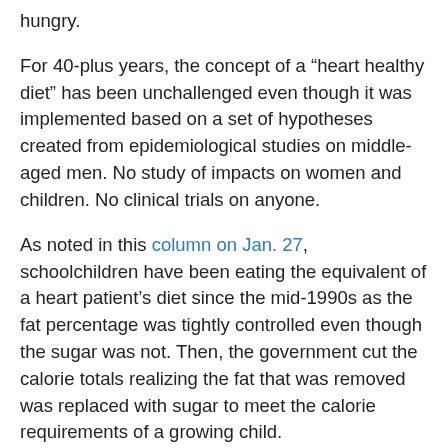hungry.
For 40-plus years, the concept of a “heart healthy diet” has been unchallenged even though it was implemented based on a set of hypotheses created from epidemiological studies on middle-aged men. No study of impacts on women and children. No clinical trials on anyone.
As noted in this column on Jan. 27, schoolchildren have been eating the equivalent of a heart patient’s diet since the mid-1990s as the fat percentage was tightly controlled even though the sugar was not. Then, the government cut the calorie totals realizing the fat that was removed was replaced with sugar to meet the calorie requirements of a growing child.
What have we to show for it? Rising levels of obesity and